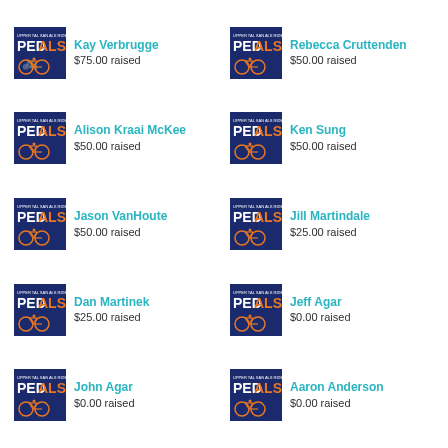[Figure (other): PEDALS badge logo with bicycle icon]
Kay Verbrugge
$75.00 raised
[Figure (other): PEDALS badge logo with bicycle icon]
Rebecca Cruttenden
$50.00 raised
[Figure (other): PEDALS badge logo with bicycle icon]
Alison Kraai McKee
$50.00 raised
[Figure (other): PEDALS badge logo with bicycle icon]
Ken Sung
$50.00 raised
[Figure (other): PEDALS badge logo with bicycle icon]
Jason VanHoute
$50.00 raised
[Figure (other): PEDALS badge logo with bicycle icon]
Jill Martindale
$25.00 raised
[Figure (other): PEDALS badge logo with bicycle icon]
Dan Martinek
$25.00 raised
[Figure (other): PEDALS badge logo with bicycle icon]
Jeff Agar
$0.00 raised
[Figure (other): PEDALS badge logo with bicycle icon]
John Agar
$0.00 raised
[Figure (other): PEDALS badge logo with bicycle icon]
Aaron Anderson
$0.00 raised